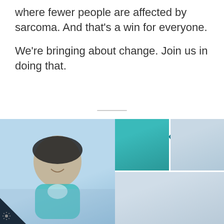where fewer people are affected by sarcoma. And that's a win for everyone.
We're bringing about change. Join us in doing that.
Anniversary Impact Rep
eople Make Sarcoma UK
[Figure (photo): Collage of four photos: a cyclist wearing a helmet and teal jersey smiling; a man in a suit speaking at a podium; a person in a teal t-shirt and hat outdoors; a woman partially visible at the bottom.]